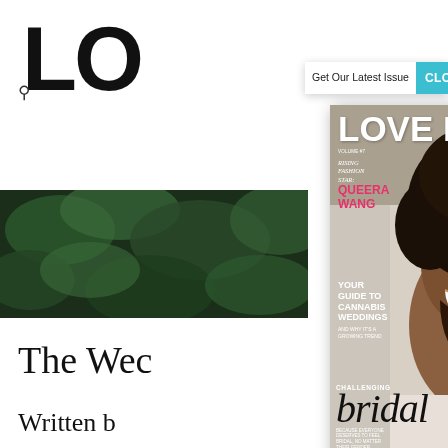[Figure (screenshot): Screenshot of a website showing a Love Inc. magazine page with a popup modal. The modal shows 'Get Our Latest Issue' header with a CLOSE button in teal, and displays the Love Inc. magazine cover featuring a smiling Black man with an afro hairstyle. The cover includes text about Rising Fashion Star Queera Wang, The Wedding Boom Timeline, Your Guide to Cannabis Weddings, Love During a Pandemic, Tear-Proof Makeup, Challenging Bridal, and Wedding-Worthy Mocktails. In the background of the website, the Love Inc. logo is partially visible, along with a photo of green leaves, partial text 'The Wec...' and 'Written by...' and a circular author photo.]